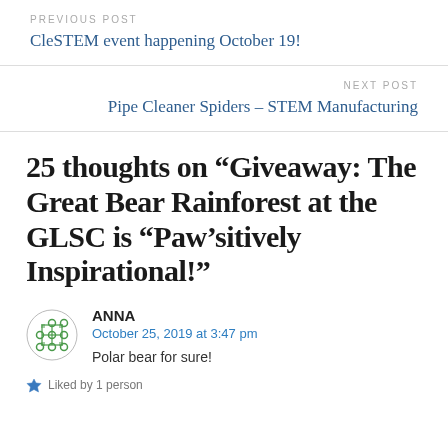PREVIOUS POST
CleSTEM event happening October 19!
NEXT POST
Pipe Cleaner Spiders – STEM Manufacturing
25 thoughts on “Giveaway: The Great Bear Rainforest at the GLSC is “Paw’sitively Inspirational!”
ANNA
October 25, 2019 at 3:47 pm
Polar bear for sure!
Liked by 1 person